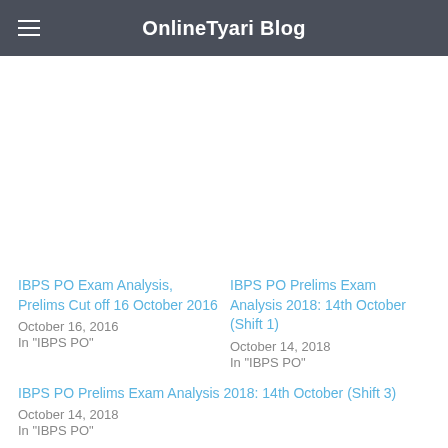OnlineTyari Blog
IBPS PO Exam Analysis, Prelims Cut off 16 October 2016
October 16, 2016
In "IBPS PO"
IBPS PO Prelims Exam Analysis 2018: 14th October (Shift 1)
October 14, 2018
In "IBPS PO"
IBPS PO Prelims Exam Analysis 2018: 14th October (Shift 3)
October 14, 2018
In "IBPS PO"